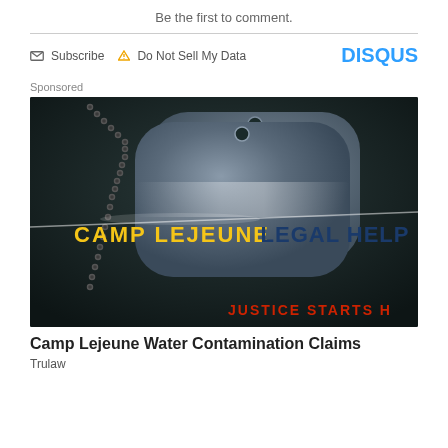Be the first to comment.
Subscribe  Do Not Sell My Data  DISQUS
Sponsored
[Figure (photo): Advertisement image showing military dog tags on dark leather background with text 'CAMP LEJEUNE LEGAL HELP' and 'JUSTICE STARTS H' visible]
Camp Lejeune Water Contamination Claims
Trulaw